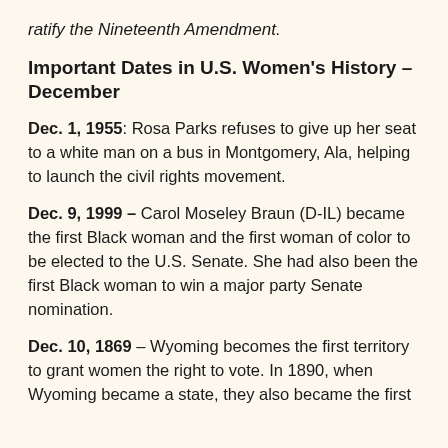ratify the Nineteenth Amendment.
Important Dates in U.S. Women's History – December
Dec. 1, 1955: Rosa Parks refuses to give up her seat to a white man on a bus in Montgomery, Ala, helping to launch the civil rights movement.
Dec. 9, 1999 – Carol Moseley Braun (D-IL) became the first Black woman and the first woman of color to be elected to the U.S. Senate. She had also been the first Black woman to win a major party Senate nomination.
Dec. 10, 1869 – Wyoming becomes the first territory to grant women the right to vote. In 1890, when Wyoming became a state, they also became the first